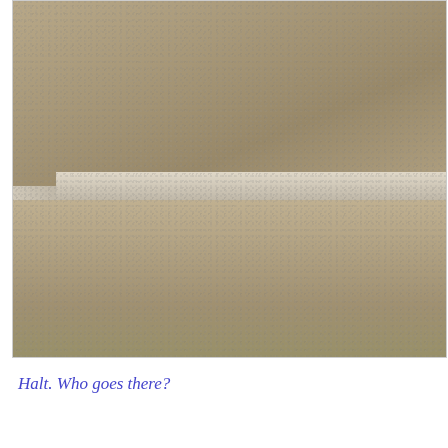[Figure (photo): Close-up photograph of carpeted stairs showing two steps — the upper tread and riser meeting the lower tread. The carpet is a beige/tan color with texture visible. A light-colored wall is visible at the upper left.]
Halt. Who goes there?